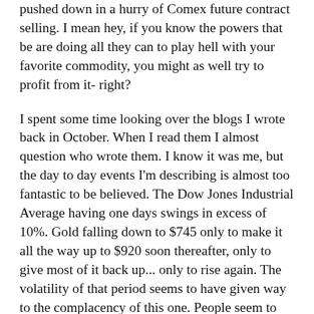pushed down in a hurry of Comex future contract selling. I mean hey, if you know the powers that be are doing all they can to play hell with your favorite commodity, you might as well try to profit from it- right?
I spent some time looking over the blogs I wrote back in October. When I read them I almost question who wrote them. I know it was me, but the day to day events I'm describing is almost too fantastic to be believed. The Dow Jones Industrial Average having one days swings in excess of 10%. Gold falling down to $745 only to make it all the way up to $920 soon thereafter, only to give most of it back up... only to rise again. The volatility of that period seems to have given way to the complacency of this one. People seem to have accepted the idea that deflation is upon us, but that the magnitude of the inflationary policies of the US Government and